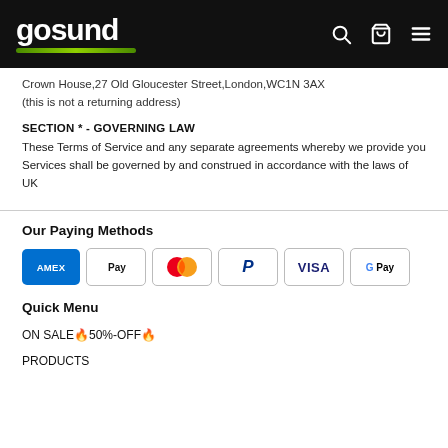gosund
Crown House,27 Old Gloucester Street,London,WC1N 3AX
(this is not a returning address)
SECTION * - GOVERNING LAW
These Terms of Service and any separate agreements whereby we provide you Services shall be governed by and construed in accordance with the laws of UK
Our Paying Methods
[Figure (infographic): Payment method logos: American Express, Apple Pay, Mastercard, PayPal, Visa, Google Pay]
Quick Menu
ON SALE🔥50%-OFF🔥
PRODUCTS